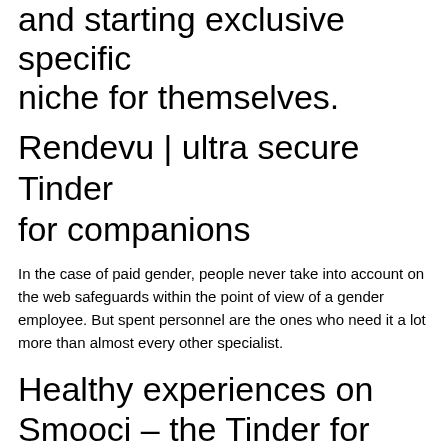and starting exclusive specific niche for themselves.
Rendevu | ultra secure Tinder for companions
In the case of paid gender, people never take into account on the web safeguards within the point of view of a gender employee. But spent personnel are the ones who need it a lot more than almost every other specialist.
Healthy experiences on Smooci – the Tinder for escorts
Smooci intends to roll out an attribute that enables companions to draw on their own “safe” after an encounter.